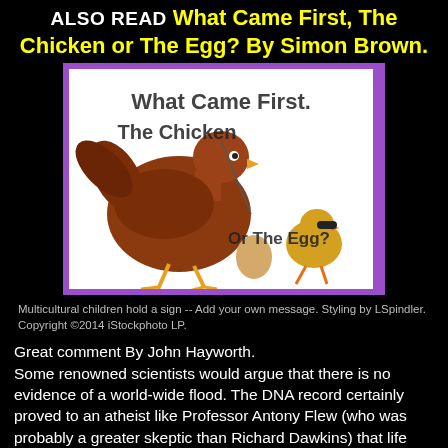ALSO READ What Came First, The Chicken or The Egg? By Simon Brown.
[Figure (photo): Book/article cover image showing a brown chicken and a small chick with an egg on white background, with text 'What Came First. The Chicken Or The Egg?' overlaid in black, framed with a purple border.]
Multicultural children hold a sign -- Add your own message. Styling by LSpindler. Copyright ©2014 iStockphoto LP.
Great comment By John Hayworth.
Some renowned scientists would argue that there is no evidence of a world-wide flood. The DNA record certainly proved to an atheist like Professor Antony Flew (who was probably a greater skeptic than Richard Dawkins) that life could not have come about by random chance. He came to